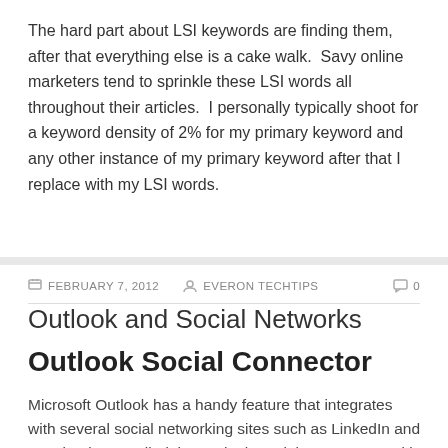The hard part about LSI keywords are finding them, after that everything else is a cake walk.  Savy online marketers tend to sprinkle these LSI words all throughout their articles.  I personally typically shoot for a keyword density of 2% for my primary keyword and any other instance of my primary keyword after that I replace with my LSI words.
FEBRUARY 7, 2012   EVERON TECHTIPS   0
Outlook and Social Networks
Outlook Social Connector
Microsoft Outlook has a handy feature that integrates with several social networking sites such as LinkedIn and Facebook. It's called the Outlook Social Connector and it works with Outlook 2003, Outlook 2007 and Outlook 2010. Currently